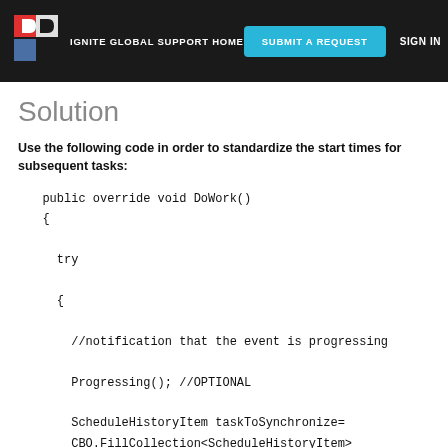IGNITE GLOBAL SUPPORT HOME | SUBMIT A REQUEST | SIGN IN
Solution
Use the following code in order to standardize the start times for subsequent tasks:
public override void DoWork()
{

  try

  {

    //notification that the event is progressing

    Progressing(); //OPTIONAL

    ScheduleHistoryItem taskToSynchronize=
    CBO.FillCollection<ScheduleHistoryItem>